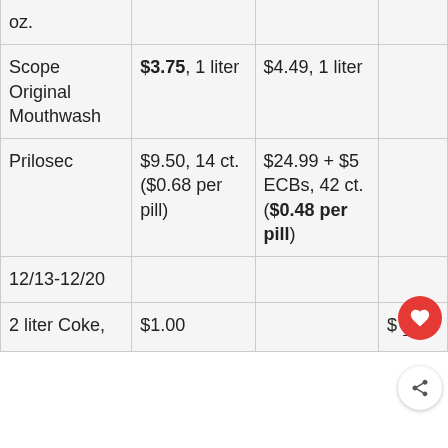| oz. |  |  |  |
| Scope Original Mouthwash | $3.75, 1 liter | $4.49, 1 liter |  |
| Prilosec | $9.50, 14 ct. ($0.68 per pill) | $24.99 + $5 ECBs, 42 ct. ($0.48 per pill) |  |
| 12/13-12/20 |  |  |  |
| 2 liter Coke, | $1.00 |  | $1.33 |